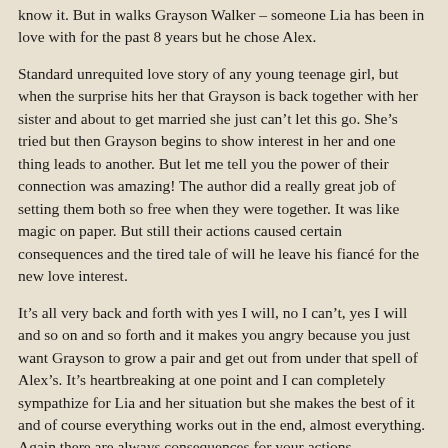know it.  But in walks Grayson Walker – someone Lia has been in love with for the past 8 years but he chose Alex.
Standard unrequited love story of any young teenage girl, but when the surprise hits her that Grayson is back together with her sister and about to get married she just can't let this go.  She's tried but then Grayson begins to show interest in her and one thing leads to another.  But let me tell you the power of their connection was amazing!  The author did a really great job of setting them both so free when they were together.  It was like magic on paper.  But still their actions caused certain consequences and the tired tale of will he leave his fiancé for the new love interest.
It's all very back and forth with yes I will, no I can't, yes I will and so on and so forth and it makes you angry because you just want Grayson to grow a pair and get out from under that spell of Alex's.  It's heartbreaking at one point and I can completely sympathize for Lia and her situation but she makes the best of it and of course everything works out in the end, almost everything.  Again there are always consequences for your actions.